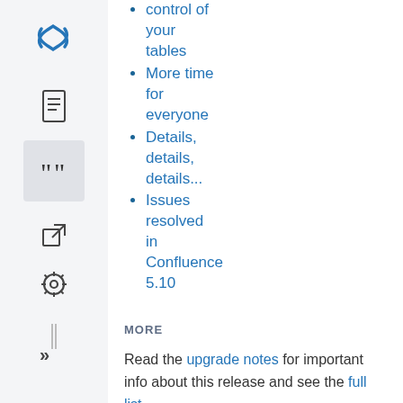control of your tables
More time for everyone
Details, details, details...
Issues resolved in Confluence 5.10
MORE
Read the upgrade notes for important info about this release and see the full list of issues resolved.